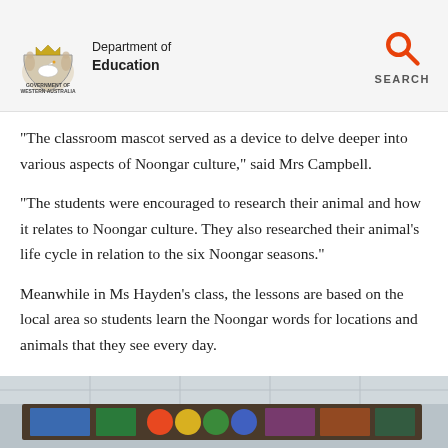Department of Education – Government of Western Australia
“The classroom mascot served as a device to delve deeper into various aspects of Noongar culture,” said Mrs Campbell.
“The students were encouraged to research their animal and how it relates to Noongar culture. They also researched their animal’s life cycle in relation to the six Noongar seasons.”
Meanwhile in Ms Hayden’s class, the lessons are based on the local area so students learn the Noongar words for locations and animals that they see every day.
[Figure (photo): Partial view of a classroom scene showing colorful learning materials and decorations on display boards.]